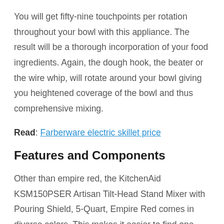You will get fifty-nine touchpoints per rotation throughout your bowl with this appliance. The result will be a thorough incorporation of your food ingredients. Again, the dough hook, the beater or the wire whip, will rotate around your bowl giving you heightened coverage of the bowl and thus comprehensive mixing.
Read: Farberware electric skillet price
Features and Components
Other than empire red, the KitchenAid KSM150PSER Artisan Tilt-Head Stand Mixer with Pouring Shield, 5-Quart, Empire Red comes in diverse colors. This makes it easier to find one that best fits into your personality and style.
It has a power hub that creates a culinary center of your kitchen countertop. This is through giving you fifteen attachment options for specific culinary adventures. A five-quart stainless steel bowl